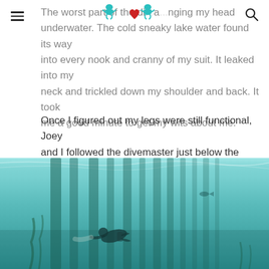[hamburger menu] [diving logo] [search icon]
The worst part of the di... anging my head underwater. The cold sneaky lake water found its way into every nook and cranny of my suit. It leaked into my neck and trickled down my shoulder and back. It took me a good minute to get my wits about me.
Once I figured out my legs were still functional, Joey and I followed the divemaster just below the choppy surface. Slowly shapes began to take form around me as I saw plant life and the occasional fish dart by. Up ahead an ancient underwater wonderland materialized from the shadows.
[Figure (photo): Underwater photograph showing a diver swimming among tall vertical structures (possibly pillars or columns) submerged in turquoise-teal colored lake water, with plant life visible.]